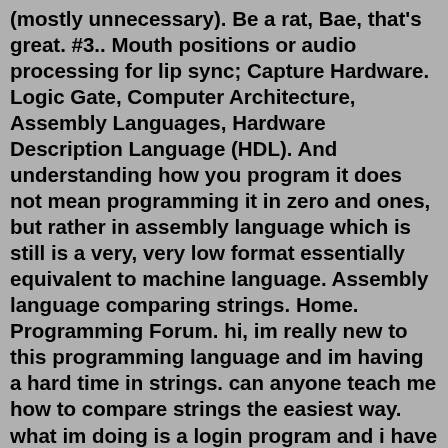(mostly unnecessary). Be a rat, Bae, that's great. #3.. Mouth positions or audio processing for lip sync; Capture Hardware. Logic Gate, Computer Architecture, Assembly Languages, Hardware Description Language (HDL). And understanding how you program it does not mean programming it in zero and ones, but rather in assembly language which is still is a very, very low format essentially equivalent to machine language. Assembly language comparing strings. Home. Programming Forum. hi, im really new to this programming language and im having a hard time in strings. can anyone teach me how to compare strings the easiest way. what im doing is a login program and i have to compare the inputed. lea si, string1 ;ds:si points to first string lea di, string2 ;ds:di points to second string dec di lab1: inc di ;ds:di -> next character in string2 lodsb ;load al with next char from string 1 ;note: lodsb increments si automatically cmp [di], al ;compare characters jne NotEqual ;jump out of loop if they are not the same cmp al, 0 ;they are the same, but end of string? jne